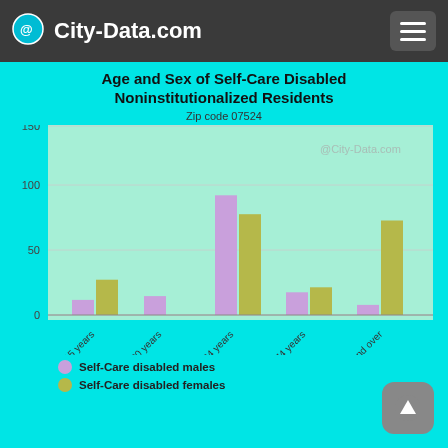City-Data.com
[Figure (grouped-bar-chart): Age and Sex of Self-Care Disabled Noninstitutionalized Residents]